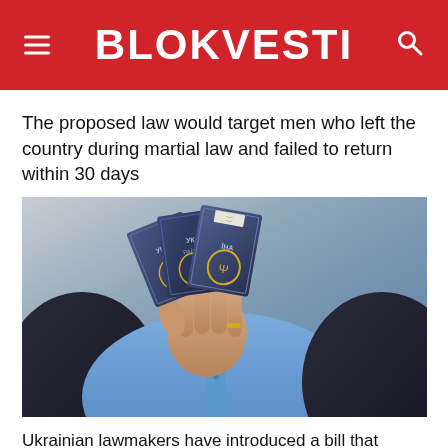BLOKVESTI
The proposed law would target men who left the country during martial law and failed to return within 30 days
[Figure (photo): A hand holding multiple Ukrainian passports, fan-spread, with a person in a blue shirt and dark jacket in the background]
Ukrainian lawmakers have introduced a bill that seeks to deprive conscripts of citizenship if they left the country during martial law.
In a bill registered in the Verkhovna Rada – Ukraine's parliament – on Tuesday, lawmakers proposed several